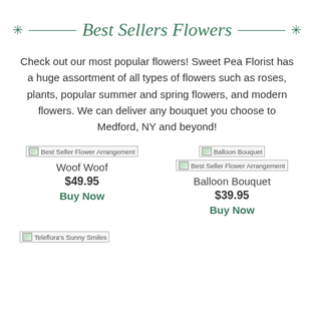Best Sellers Flowers
Check out our most popular flowers! Sweet Pea Florist has a huge assortment of all types of flowers such as roses, plants, popular summer and spring flowers, and modern flowers. We can deliver any bouquet you choose to Medford, NY and beyond!
[Figure (photo): Broken image placeholder for Best Seller Flower Arrangement - Woof Woof]
Woof Woof
$49.95
Buy Now
[Figure (photo): Broken image placeholder for Balloon Bouquet]
[Figure (photo): Broken image placeholder for Best Seller Flower Arrangement - Balloon Bouquet]
Balloon Bouquet
$39.95
Buy Now
[Figure (photo): Broken image placeholder for Teleflora's Sunny Smiles]